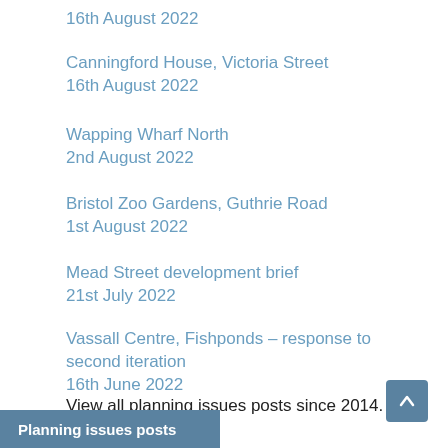16th August 2022
Canningford House, Victoria Street
16th August 2022
Wapping Wharf North
2nd August 2022
Bristol Zoo Gardens, Guthrie Road
1st August 2022
Mead Street development brief
21st July 2022
Vassall Centre, Fishponds – response to second iteration
16th June 2022
View all planning issues posts since 2014.
Planning issues posts